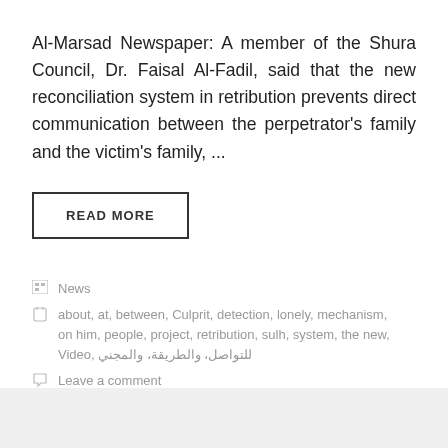Al-Marsad Newspaper: A member of the Shura Council, Dr. Faisal Al-Fadil, said that the new reconciliation system in retribution prevents direct communication between the perpetrator's family and the victim's family, ...
READ MORE
News
about, at, between, Culprit, detection, lonely, mechanism, on him, people, project, retribution, sulh, system, the new, Video, للتواصل، والطريقة، والمجني
Leave a comment